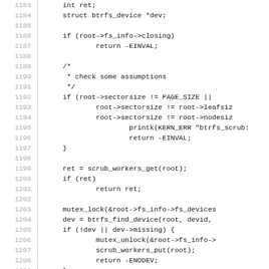[Figure (screenshot): Source code listing showing C code lines 1183-1212, with line numbers on the left separated by a vertical line, and code on the right in monospace font. Code shows a function with btrfs scrub-related logic including mutex locks, device checks, and error handling.]